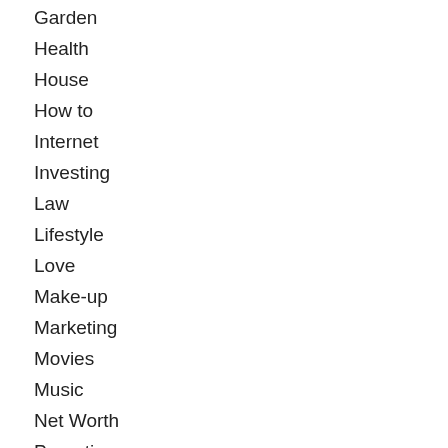Garden
Health
House
How to
Internet
Investing
Law
Lifestyle
Love
Make-up
Marketing
Movies
Music
Net Worth
Parenting